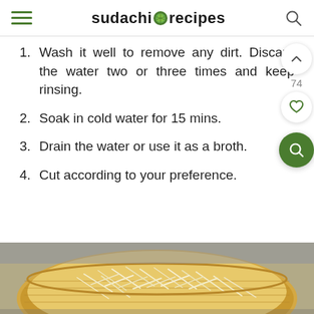sudachi recipes
1. Wash it well to remove any dirt. Discard the water two or three times and keep rinsing.
2. Soak in cold water for 15 mins.
3. Drain the water or use it as a broth.
4. Cut according to your preference.
[Figure (photo): A bamboo basket filled with bean sprouts or shredded daikon, viewed from above on a gray surface]